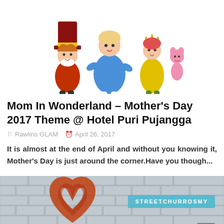[Figure (illustration): Cartoon illustration of Alice in Wonderland characters including Alice in blue dress, Mad Hatter, and other characters against a white background.]
Mom In Wonderland - Mother's Day 2017 Theme @ Hotel Puri Pujangga
Rawlins GLAM   April 26, 2017
It is almost at the end of April and without you knowing it, Mother's Day is just around the corner.Have you though...
[Figure (photo): Photo of a brick wall with a large orange/red heart shape painted or formed on it. Overlaid with a cyan/teal watermark reading STREETCHURROSMY.]